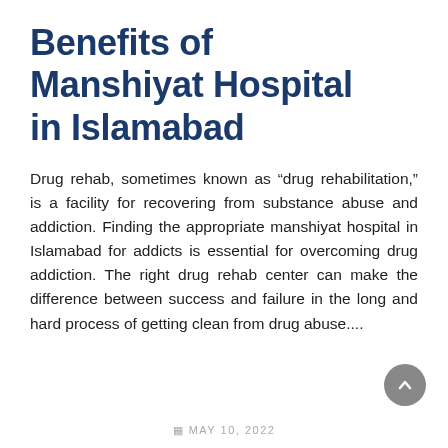Benefits of Manshiyat Hospital in Islamabad
Drug rehab, sometimes known as “drug rehabilitation,” is a facility for recovering from substance abuse and addiction. Finding the appropriate manshiyat hospital in Islamabad for addicts is essential for overcoming drug addiction. The right drug rehab center can make the difference between success and failure in the long and hard process of getting clean from drug abuse....
MAY 10, 2022